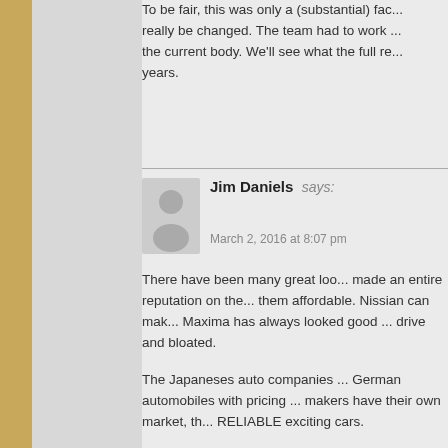To be fair, this was only a (substantial) fac... really be changed. The team had to work ... the current body. We'll see what the full re... years.
Jim Daniels says:
March 2, 2016 at 8:07 pm
There have been many great loo... made an entire reputation on the... them affordable. Nissian can mak... Maxima has always looked good ... drive and bloated.

The Japaneses auto companies ... German automobiles with pricing ... makers have their own market, th... RELIABLE exciting cars.

The auto industry has created the... next to nothing that is exciting to ... Then they do all of their research... the consumers live there. Howev... environment where they are in st... pull out of their driveways. These